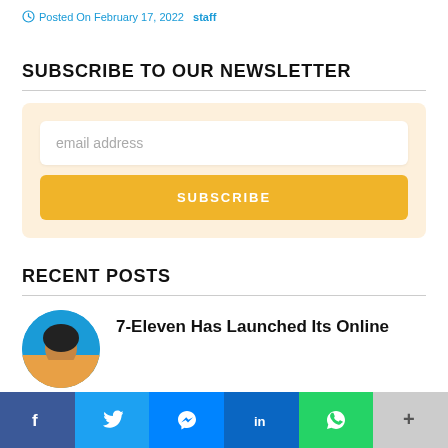Posted On February 17, 2022   staff
SUBSCRIBE TO OUR NEWSLETTER
email address
SUBSCRIBE
RECENT POSTS
7-Eleven Has Launched Its Online
[Figure (infographic): Social share bar with Facebook, Twitter, Messenger, LinkedIn, WhatsApp, and More buttons]